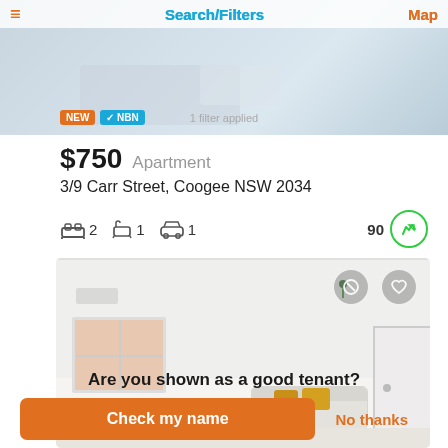Search/Filters
[Figure (screenshot): Top listing image showing an apartment interior with white furniture]
$750  Apartment
3/9 Carr Street, Coogee NSW 2034
2 bedrooms  1 bathroom  1 parking  90 walk score
[Figure (photo): Bright white apartment living room with yellow cushions on sofa, window, and door]
Are you shown as a good tenant?
Check my name
No thanks